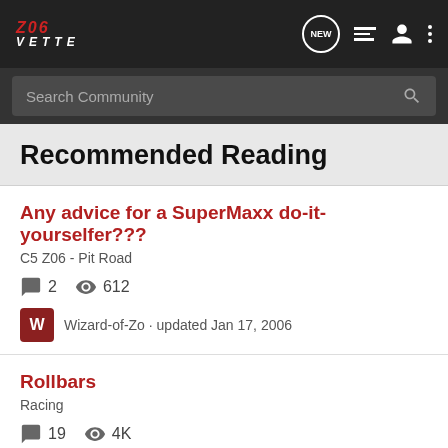Z06 VETTE
Search Community
Recommended Reading
Any advice for a SuperMaxx do-it-yourselfer???
C5 Z06 - Pit Road
2 replies · 612 views · Wizard-of-Zo · updated Jan 17, 2006
Rollbars
Racing
19 replies · 4K views · CrazedZ06 · updated Feb 21, 2002